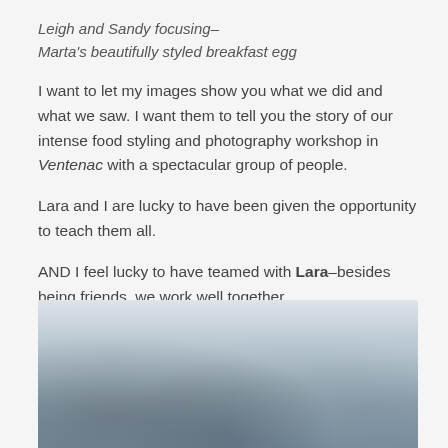Leigh and Sandy focusing–
Marta's beautifully styled breakfast egg
I want to let my images show you what we did and what we saw. I want them to tell you the story of our intense food styling and photography workshop in Ventenac with a spectacular group of people.
Lara and I are lucky to have been given the opportunity to teach them all.
AND I feel lucky to have teamed with Lara–besides being friends, we work well together.
[Figure (photo): Overcast sky with clouds, light grey tones, partial landscape visible at bottom]